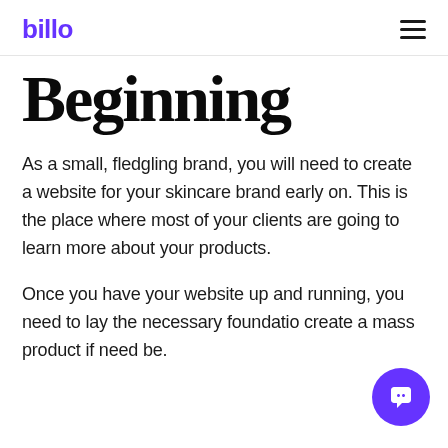billo
Beginning
As a small, fledgling brand, you will need to create a website for your skincare brand early on. This is the place where most of your clients are going to learn more about your products.
Once you have your website up and running, you need to lay the necessary foundation create a mass product if need be.